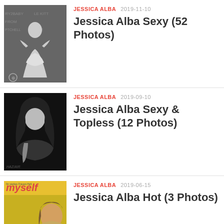JESSICA ALBA 2019-11-10 Jessica Alba Sexy (52 Photos)
JESSICA ALBA 2019-09-10 Jessica Alba Sexy & Topless (12 Photos)
JESSICA ALBA 2019-06-15 Jessica Alba Hot (3 Photos)
JESSICA ALBA 2019-06-15 Jessica Alba Sexy (124 Photos)